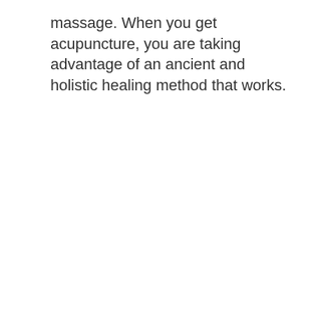massage. When you get acupuncture, you are taking advantage of an ancient and holistic healing method that works.